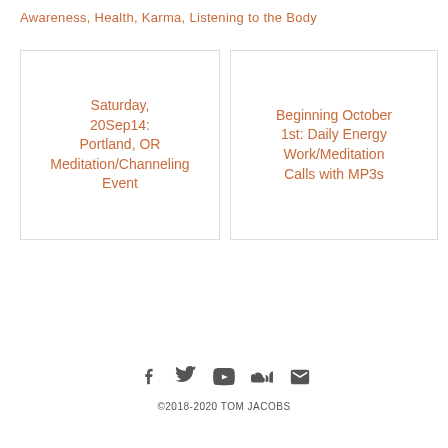Awareness, Health, Karma, Listening to the Body
Saturday, 20Sep14: Portland, OR Meditation/Channeling Event
Beginning October 1st: Daily Energy Work/Meditation Calls with MP3s
©2018-2020 TOM JACOBS